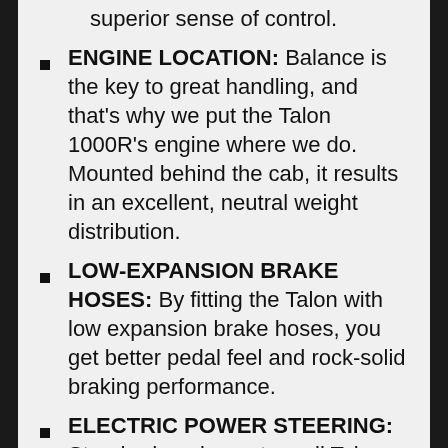superior sense of control.
ENGINE LOCATION: Balance is the key to great handling, and that’s why we put the Talon 1000R’s engine where we do. Mounted behind the cab, it results in an excellent, neutral weight distribution.
LOW-EXPANSION BRAKE HOSES: By fitting the Talon with low expansion brake hoses, you get better pedal feel and rock-solid braking performance.
ELECTRIC POWER STEERING: Standard equipment on all Talon models, our Electric Power Steering system helps eliminate bump steer through rocky and rutted terrain, which reduces fatigue. What makes it even better is the added assist you get when you